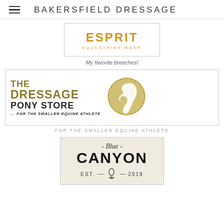BAKERSFIELD DRESSAGE
[Figure (logo): ESPRIT EQUESTRIAN WEAR logo in orange/gold text on white background with border]
My favorite breeches!
[Figure (logo): The Dressage Pony Store logo with gold horse head circle and tagline '... FOR THE SMALLER EQUINE ATHLETE']
FOR THE SMALLER EQUINE ATHLETE
[Figure (logo): Blue Canyon logo on beige background with script '- Blue -' above large CANYON text and EST. - [vase icon] - 2019 below]